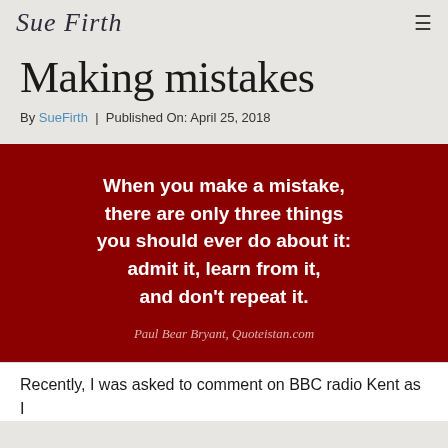Sue Firth
Making mistakes
By SueFirth | Published On: April 25, 2018
[Figure (other): Dark red quote card with white bold text: 'When you make a mistake, there are only three things you should ever do about it: admit it, learn from it, and don't repeat it.' Attribution: Paul Bear Bryant, Quoteistan.com]
Recently, I was asked to comment on BBC radio Kent as I